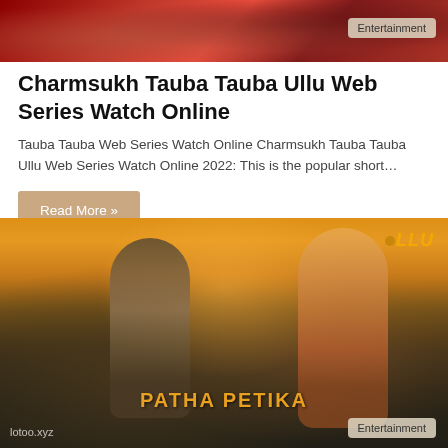[Figure (screenshot): Top partial image of a web series thumbnail with red/dark tones and an Entertainment badge in the upper right corner]
Charmsukh Tauba Tauba Ullu Web Series Watch Online
Tauba Tauba Web Series Watch Online Charmsukh Tauba Tauba Ullu Web Series Watch Online 2022: This is the popular short…
Read More »
[Figure (screenshot): Bottom image showing two people on a rooftop at sunset, with the text 'PATHA PETIKA' overlaid, the ULLU logo in the top right, lotoo.xyz watermark in the bottom left, and an Entertainment badge in the bottom right]